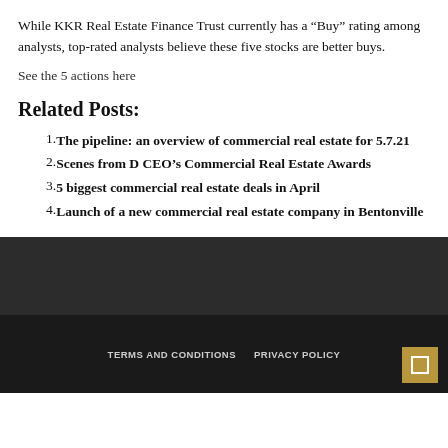While KKR Real Estate Finance Trust currently has a “Buy” rating among analysts, top-rated analysts believe these five stocks are better buys.
See the 5 actions here
Related Posts:
The pipeline: an overview of commercial real estate for 5.7.21
Scenes from D CEO’s Commercial Real Estate Awards
5 biggest commercial real estate deals in April
Launch of a new commercial real estate company in Bentonville
TERMS AND CONDITIONS   PRIVACY POLICY